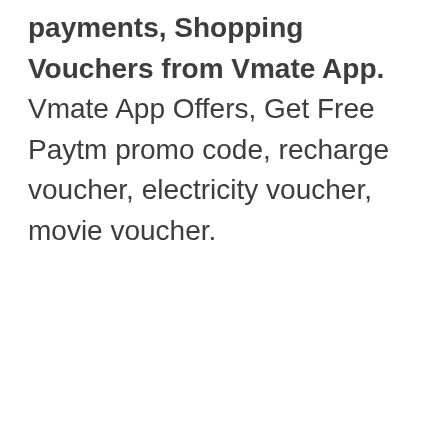payments, Shopping Vouchers from Vmate App. Vmate App Offers, Get Free Paytm promo code, recharge voucher, electricity voucher, movie voucher.